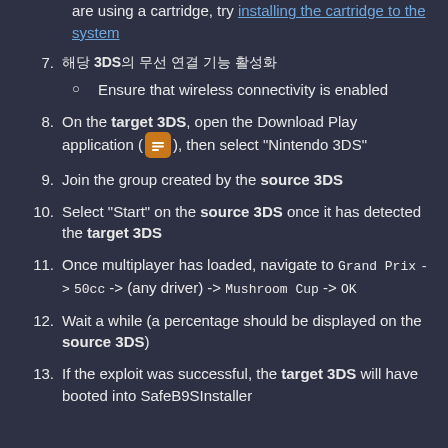are using a cartridge, try installing the cartridge to the system
7. 해당 3DS의 무선 연결 기능 활성화
Ensure that wireless connectivity is enabled
8. On the target 3DS, open the Download Play application, then select "Nintendo 3DS"
9. Join the group created by the source 3DS
10. Select "Start" on the source 3DS once it has detected the target 3DS
11. Once multiplayer has loaded, navigate to Grand Prix -> 50cc -> (any driver) -> Mushroom Cup -> OK
12. Wait a while (a percentage should be displayed on the source 3DS)
13. If the exploit was successful, the target 3DS will have booted into SafeB9SInstaller